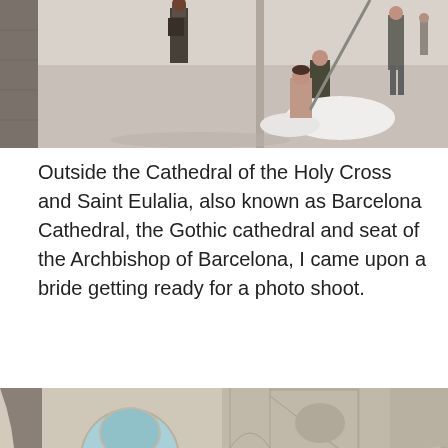[Figure (photo): Photo of a bride getting ready for a photo shoot outside Barcelona Cathedral. A person in a white wedding dress is on the ground being attended to, with other people and stone building in the background.]
Outside the Cathedral of the Holy Cross and Saint Eulalia, also known as Barcelona Cathedral, the Gothic cathedral and seat of the Archbishop of Barcelona, I came upon a bride getting ready for a photo shoot.
[Figure (photo): Close-up photo of the facade of Barcelona Cathedral, showing Gothic architecture with ornate stone carvings, pointed arches, blue stained glass windows, and spires.]